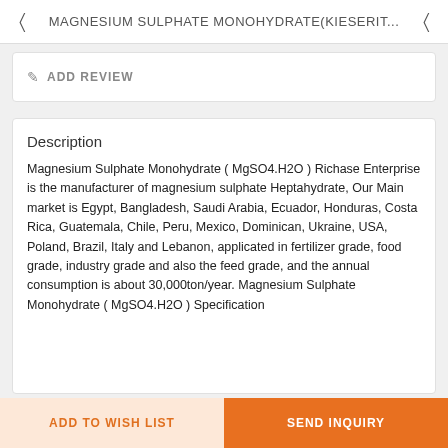MAGNESIUM SULPHATE MONOHYDRATE(KIESERIT...
ADD REVIEW
Description
Magnesium Sulphate Monohydrate ( MgSO4.H2O ) Richase Enterprise is the manufacturer of magnesium sulphate Heptahydrate, Our Main market is Egypt, Bangladesh, Saudi Arabia, Ecuador, Honduras, Costa Rica, Guatemala, Chile, Peru, Mexico, Dominican, Ukraine, USA, Poland, Brazil, Italy and Lebanon, applicated in fertilizer grade, food grade, industry grade and also the feed grade, and the annual consumption is about 30,000ton/year. Magnesium Sulphate Monohydrate ( MgSO4.H2O ) Specification
ADD TO WISH LIST
SEND INQUIRY